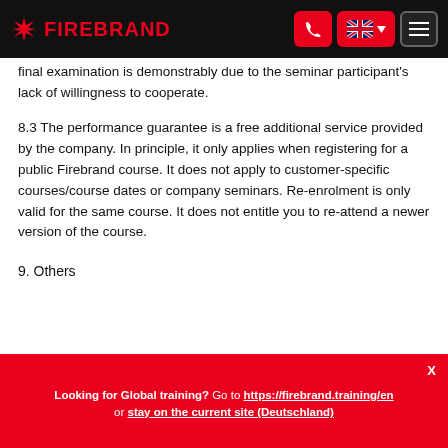FIREBRAND
final examination is demonstrably due to the seminar participant's lack of willingness to cooperate.
8.3 The performance guarantee is a free additional service provided by the company. In principle, it only applies when registering for a public Firebrand course. It does not apply to customer-specific courses/course dates or company seminars. Re-enrolment is only valid for the same course. It does not entitle you to re-attend a newer version of the course.
9. Others
Looking for Global training? Go to https://firebrand.training/en or stay on the current site (Deutschland)